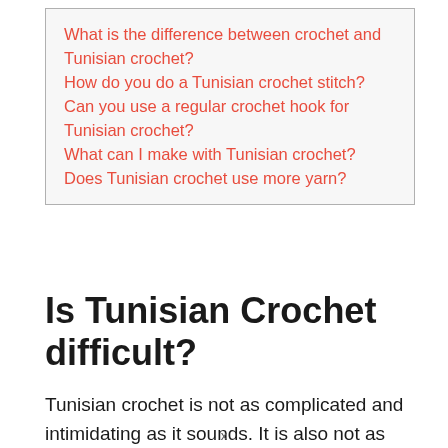What is the difference between crochet and Tunisian crochet?
How do you do a Tunisian crochet stitch?
Can you use a regular crochet hook for Tunisian crochet?
What can I make with Tunisian crochet?
Does Tunisian crochet use more yarn?
Is Tunisian Crochet difficult?
Tunisian crochet is not as complicated and intimidating as it sounds. It is also not as difficult as
x